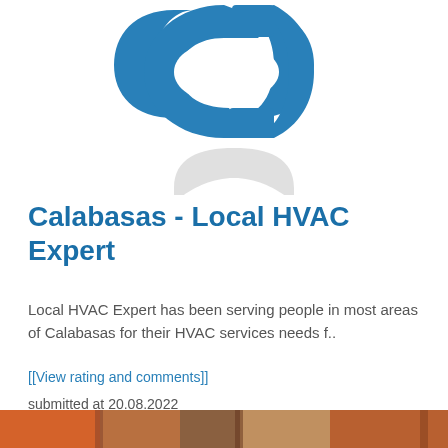[Figure (logo): Blue chain link / HVAC company logo with reflection below — upper portion showing a blue stylized chain/link icon and a gray reflected arc beneath it]
Calabasas - Local HVAC Expert
Local HVAC Expert has been serving people in most areas of Calabasas for their HVAC services needs f..
[[View rating and comments]]
submitted at 20.08.2022
[Figure (photo): Bottom strip of a photo showing warm orange/brown tones, partial view of an HVAC-related scene]